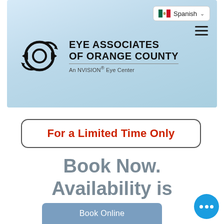[Figure (screenshot): Eye Associates of Orange County website header with logo, Spanish language selector, hamburger menu, on a light blue gradient background]
For a Limited Time Only
Book Now. Availability is limited.
Book Online